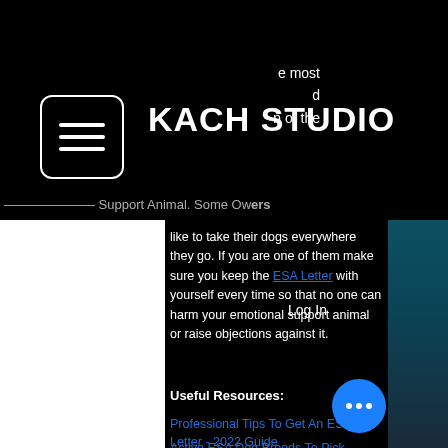KACH STUDIO
most d n of the Emotional Support Animal. Some owners like to take their dogs everywhere they go. If you are one of them make sure you keep the ESA Letter with yourself every time so that no one can harm your emotional support animal or raise objections against it.
Useful Resources:
Professional Tips To Get An ESA Letter - 2022 Guide
Active ESA Dog Breeds To Pick - 2022 Guide